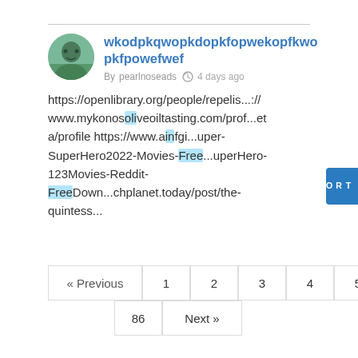wkodpkqwopkdopkfopwekopfkwopkfpowefwef
By pearlnoseads  4 days ago
https://openlibrary.org/people/repelis...://www.mykonosoliveoiltasting.com/prof...eta/profile https://www.ainfgi...uper-SuperHero2022-Movies-Free...uperHero-123Movies-Reddit-FreeDown...chplanet.today/post/the-quintess...